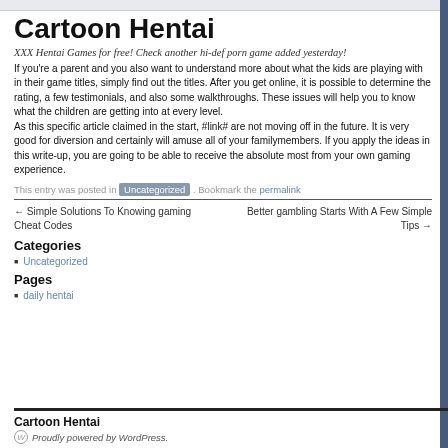Cartoon Hentai
XXX Hentai Games for free! Check another hi-def porn game added yesterday!
If you're a parent and you also want to understand more about what the kids are playing with in their game titles, simply find out the titles. After you get online, it is possible to determine the rating, a few testimonials, and also some walkthroughs. These issues will help you to know what the children are getting into at every level.
As this specific article claimed in the start, #link# are not moving off in the future. It is very good for diversion and certainly will amuse all of your familymembers. If you apply the ideas in this write-up, you are going to be able to receive the absolute most from your own gaming experience.
This entry was posted in Uncategorized . Bookmark the permalink
← Simple Solutions To Knowing gaming Cheat Codes
Better gambling Starts With A Few Simple Tips →
Categories
Uncategorized
Pages
daily hentai
Cartoon Hentai
Proudly powered by WordPress.